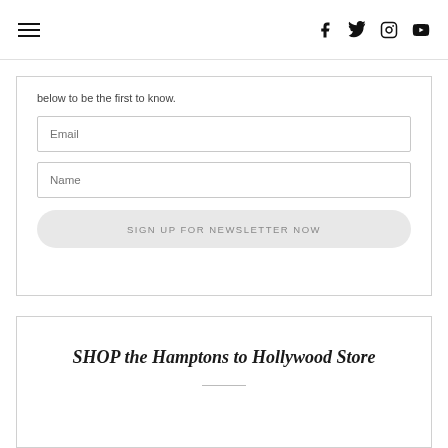Navigation bar with hamburger menu and social icons: f (Facebook), Twitter, Instagram, YouTube
below to be the first to know.
[Figure (other): Email input field with placeholder text 'Email']
[Figure (other): Name input field with placeholder text 'Name']
SIGN UP FOR NEWSLETTER NOW
SHOP the Hamptons to Hollywood Store